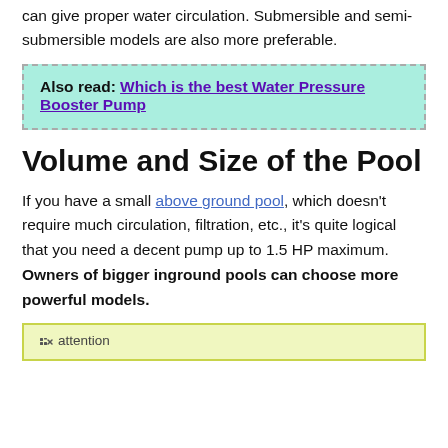can give proper water circulation. Submersible and semi-submersible models are also more preferable.
Also read: Which is the best Water Pressure Booster Pump
Volume and Size of the Pool
If you have a small above ground pool, which doesn't require much circulation, filtration, etc., it's quite logical that you need a decent pump up to 1.5 HP maximum. Owners of bigger inground pools can choose more powerful models.
attention